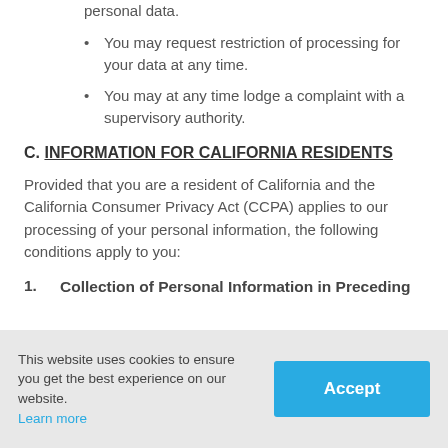personal data.
You may request restriction of processing for your data at any time.
You may at any time lodge a complaint with a supervisory authority.
C. INFORMATION FOR CALIFORNIA RESIDENTS
Provided that you are a resident of California and the California Consumer Privacy Act (CCPA) applies to our processing of your personal information, the following conditions apply to you:
1. Collection of Personal Information in Preceding
This website uses cookies to ensure you get the best experience on our website. Learn more